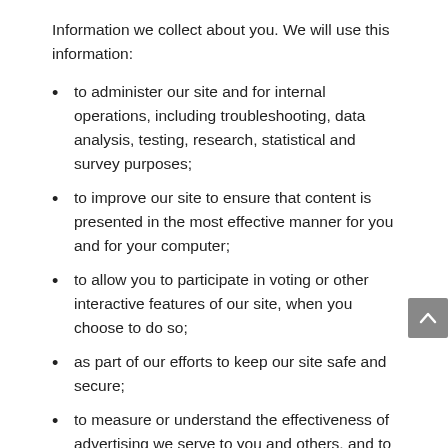Information we collect about you. We will use this information:
to administer our site and for internal operations, including troubleshooting, data analysis, testing, research, statistical and survey purposes;
to improve our site to ensure that content is presented in the most effective manner for you and for your computer;
to allow you to participate in voting or other interactive features of our site, when you choose to do so;
as part of our efforts to keep our site safe and secure;
to measure or understand the effectiveness of advertising we serve to you and others, and to deliver relevant advertising to you;